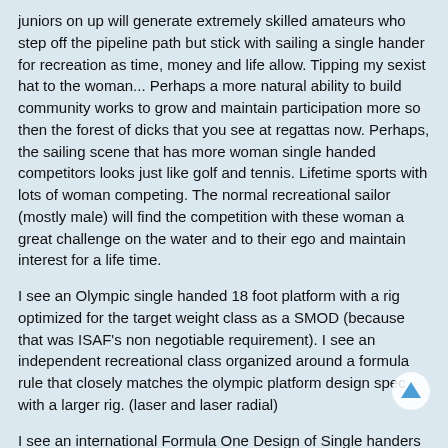juniors on up will generate extremely skilled amateurs who step off the pipeline path but stick with sailing a single hander for recreation as time, money and life allow. Tipping my sexist hat to the woman... Perhaps a more natural ability to build community works to grow and maintain participation more so then the forest of dicks that you see at regattas now. Perhaps, the sailing scene that has more woman single handed competitors looks just like golf and tennis. Lifetime sports with lots of woman competing. The normal recreational sailor (mostly male) will find the competition with these woman a great challenge on the water and to their ego and maintain interest for a life time.
I see an Olympic single handed 18 foot platform with a rig optimized for the target weight class as a SMOD (because that was ISAF's non negotiable requirement). I see an independent recreational class organized around a formula rule that closely matches the olympic platform design spec with a larger rig. (laser and laser radial)
I see an international Formula One Design of Single handers being extremely successful (Hell... the Hobie 14 still holds ISAF world championship status and the A class continues to flush sailors through as they try to hang in the development class world. Finally, the number one factor in getting young boys to join the sport... would be.... Young girls.